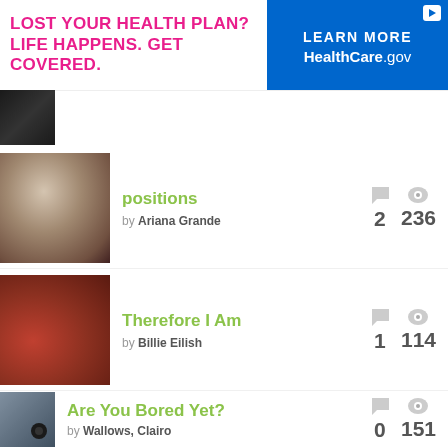[Figure (screenshot): Advertisement banner: 'LOST YOUR HEALTH PLAN? LIFE HAPPENS. GET COVERED.' with HealthCare.gov logo and 'LEARN MORE' button]
positions by Ariana Grande — 2 comments, 236 views
Therefore I Am by Billie Eilish — 1 comment, 114 views
Are You Bored Yet? by Wallows, Clairo — 0 comments, 151 views
MORE TRACK RANKINGS
Post a Meaning